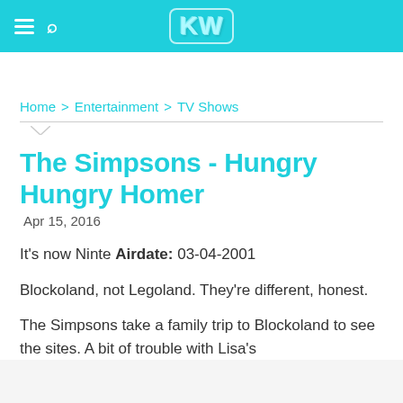KW
Home > Entertainment > TV Shows
The Simpsons - Hungry Hungry Homer
Apr 15, 2016
It's now Ninte Airdate: 03-04-2001
Blockoland, not Legoland. They're different, honest.
The Simpsons take a family trip to Blockoland to see the sites. A bit of trouble with Lisa's